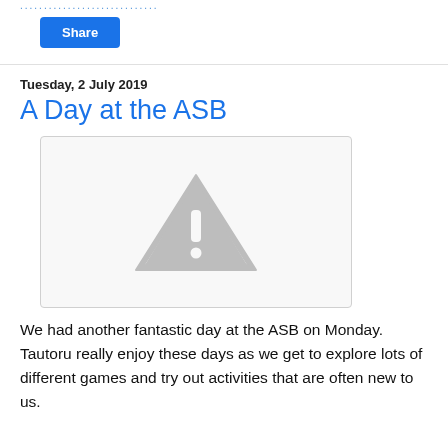..........................
Share
Tuesday, 2 July 2019
A Day at the ASB
[Figure (photo): Image placeholder with warning/broken image icon (grey triangle with exclamation mark)]
We had another fantastic day at the ASB on Monday. Tautoru really enjoy these days as we get to explore lots of different games and try out activities that are often new to us.